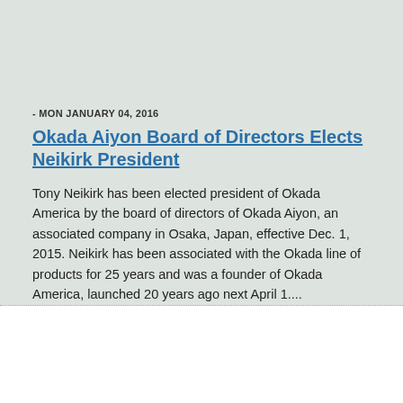- MON JANUARY 04, 2016
Okada Aiyon Board of Directors Elects Neikirk President
Tony Neikirk has been elected president of Okada America by the board of directors of Okada Aiyon, an associated company in Osaka, Japan, effective Dec. 1, 2015. Neikirk has been associated with the Okada line of products for 25 years and was a founder of Okada America, launched 20 years ago next April 1....